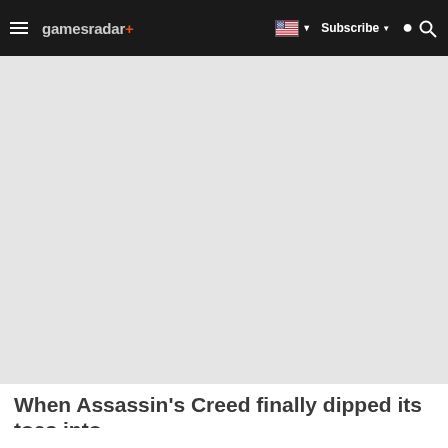gamesradar+ | Subscribe
[Figure (photo): Large grey placeholder hero image area for an Assassin's Creed article]
When Assassin's Creed finally dipped its toes into